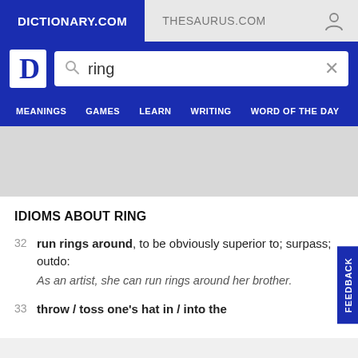DICTIONARY.COM | THESAURUS.COM
[Figure (screenshot): Dictionary.com logo with search bar containing 'ring']
MEANINGS  GAMES  LEARN  WRITING  WORD OF THE DAY
IDIOMS ABOUT RING
32  run rings around, to be obviously superior to; surpass; outdo: As an artist, she can run rings around her brother.
33  throw / toss one's hat in / into the